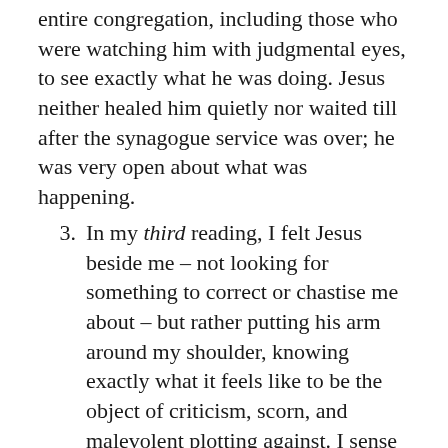entire congregation, including those who were watching him with judgmental eyes, to see exactly what he was doing. Jesus neither healed him quietly nor waited till after the synagogue service was over; he was very open about what was happening.
3. In my third reading, I felt Jesus beside me – not looking for something to correct or chastise me about – but rather putting his arm around my shoulder, knowing exactly what it feels like to be the object of criticism, scorn, and malevolent plotting against. I sense my solidarity with Christ, my union with him, believing that nothing can separate me from the love of God in Christ, my Savior